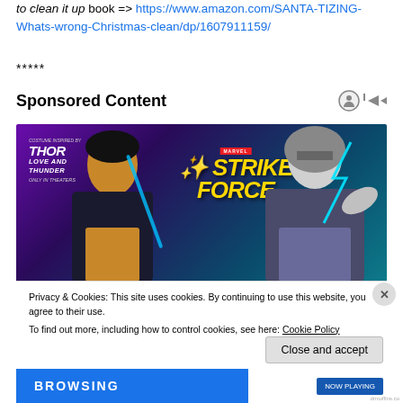to clean it up book => https://www.amazon.com/SANTA-TIZING-Whats-wrong-Christmas-clean/dp/1607911159/
*****
Sponsored Content
[Figure (screenshot): Marvel Strike Force advertisement showing two female characters: one with a blue sword on the left and one in Thor costume on the right, with the game logo 'Strike Force' in yellow text and Marvel branding. Background is purple/teal gradient. Thor: Love and Thunder movie branding in top left corner.]
Privacy & Cookies: This site uses cookies. By continuing to use this website, you agree to their use.
To find out more, including how to control cookies, see here: Cookie Policy
Close and accept
BROWSING